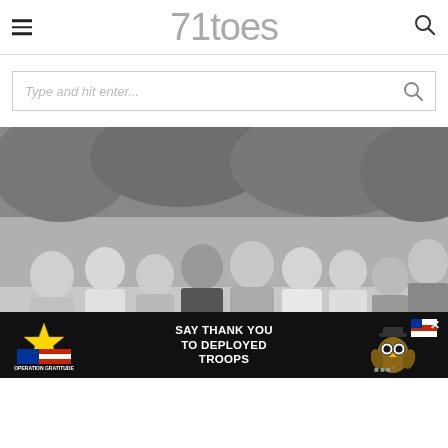71toes
[Figure (screenshot): Website search bar with placeholder text 'Type and hit enter...' and a magnifying glass icon on the right]
[Figure (photo): Black and white family portrait of a large family (two adults and several children/young adults) posing together outdoors in front of leafy trees]
[Figure (infographic): Advertisement banner: Operation Gratitude - SAY THANK YOU TO DEPLOYED TROOPS, with patriotic imagery and an owl mascot]